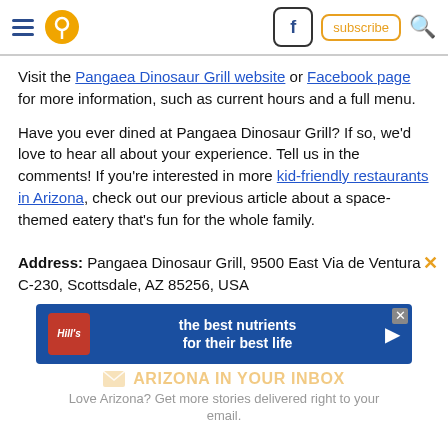Navigation header with hamburger menu, location pin, Facebook icon, subscribe button, search icon
Visit the Pangaea Dinosaur Grill website or Facebook page for more information, such as current hours and a full menu.
Have you ever dined at Pangaea Dinosaur Grill? If so, we'd love to hear all about your experience. Tell us in the comments! If you're interested in more kid-friendly restaurants in Arizona, check out our previous article about a space-themed eatery that's fun for the whole family.
Address: Pangaea Dinosaur Grill, 9500 East Via de Ventura C-230, Scottsdale, AZ 85256, USA
[Figure (other): Hill's Pet Nutrition advertisement banner: blue background with Hill's logo, text 'the best nutrients for their best life']
ARIZONA IN YOUR INBOX
Love Arizona? Get more stories delivered right to your email.